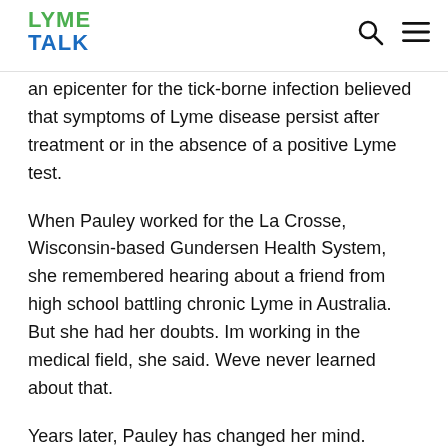LYME TALK
an epicenter for the tick-borne infection believed that symptoms of Lyme disease persist after treatment or in the absence of a positive Lyme test.
When Pauley worked for the La Crosse, Wisconsin-based Gundersen Health System, she remembered hearing about a friend from high school battling chronic Lyme in Australia. But she had her doubts. Im working in the medical field, she said. Weve never learned about that.
Years later, Pauley has changed her mind. Pauley tested positive for Lyme in 2020. She suffers from unrelenting fatigue, joint pain and brain fog. She walks up stairs sideways because of the unbearable knee pain. Pauley said she has become pseudo-Lyme literate because of her own